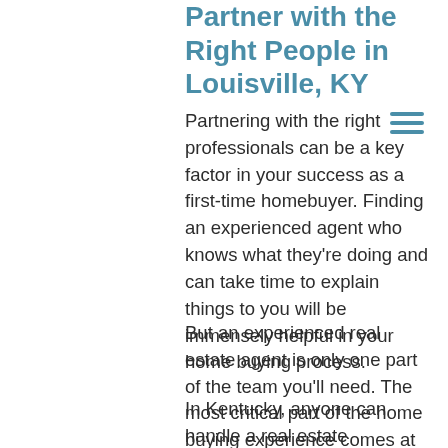Partner with the Right People in Louisville, KY
Partnering with the right professionals can be a key factor in your success as a first-time homebuyer. Finding an experienced agent who knows what they’re doing and can take time to explain things to you will be immensely helpful in your home buying process.
But an experienced real estate agent is only one part of the team you’ll need. The most critical part of the home buying experience comes at the end of the process—the closing.
In Kentucky, anyone can handle a real estate transaction and no licenses or trainings are required. Throughout